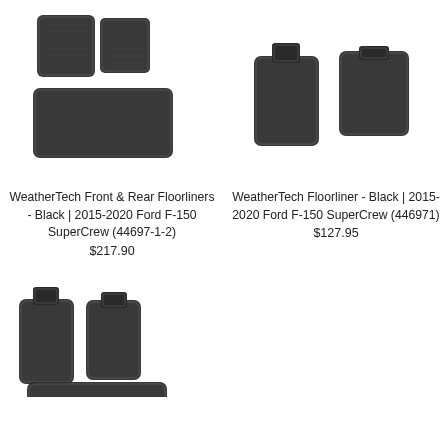[Figure (photo): WeatherTech front and rear floor liners set for Ford F-150, shown as three black rubber mats arranged in a set]
WeatherTech Front & Rear Floorliners - Black | 2015-2020 Ford F-150 SuperCrew (44697-1-2)
$217.90
[Figure (photo): WeatherTech front floorliner pair for Ford F-150, shown as two black rubber mats (driver and passenger side)]
WeatherTech Floorliner - Black | 2015-2020 Ford F-150 SuperCrew (446971)
$127.95
[Figure (photo): WeatherTech floor liners for Ford F-150, showing front row two mats and a rear row mat, black rubber, partially visible at bottom of page]